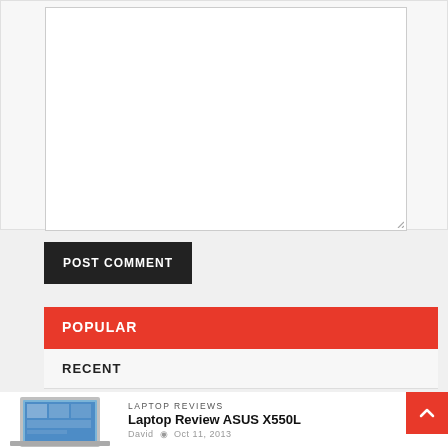[Figure (screenshot): Empty textarea form field with resize handle in bottom-right corner]
POST COMMENT
POPULAR
RECENT
COMMENTS
[Figure (photo): Laptop computer (ASUS X550L) on grey background]
LAPTOP REVIEWS
Laptop Review ASUS X550L
David  Oct 11, 2013